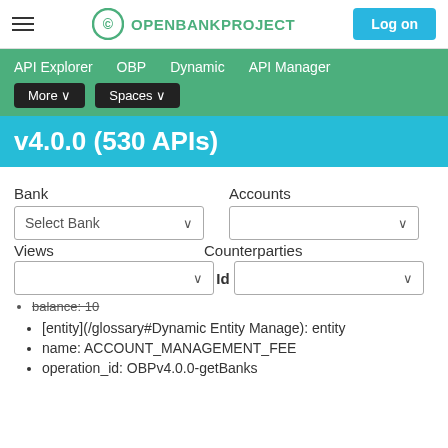OPENBANKPROJECT — Log on
API Explorer  OBP  Dynamic  API Manager  More ∨  Spaces ∨
v4.0.0 (530 APIs)
Bank  Accounts  Select Bank  Views  Counterparties  Id
balance: 10
[entity](/glossary#Dynamic Entity Manage): entity
name: ACCOUNT_MANAGEMENT_FEE
operation_id: OBPv4.0.0-getBanks